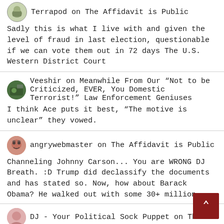Terrapod on The Affidavit is Public
Sadly this is what I live with and given the level of fraud in last election, questionable if we can vote them out in 72 days The U.S. Western District Court
Veeshir on Meanwhile From Our “Not to be Criticized, EVER, You Domestic Terrorist!” Law Enforcement Geniuses
I think Ace puts it best, “The motive is unclear” they vowed.
angrywebmaster on The Affidavit is Public
Channeling Johnny Carson... You are WRONG DJ Breath. :D Trump did declassify the documents and has stated so. Now, how about Barack Obama? He walked out with some 30+ million
DJ - Your Political Sock Puppet on The